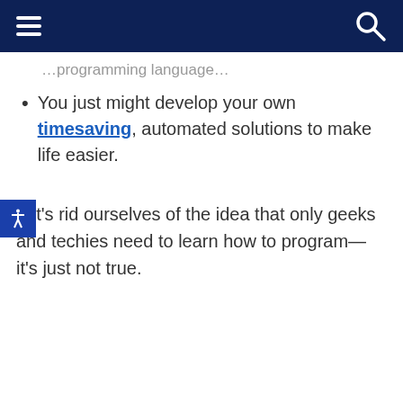[navigation bar with hamburger menu and search icon]
You just might develop your own timesaving, automated solutions to make life easier.
Let’s rid ourselves of the idea that only geeks and techies need to learn how to program—it’s just not true.